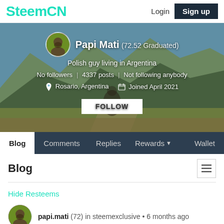SteemCN   Login  Sign up
[Figure (photo): Profile banner with mountain landscape background showing Papi Mati (72.52 Graduated), Polish guy living in Argentina, No followers | 4337 posts | Not following anybody, Rosario Argentina, Joined April 2021, with FOLLOW button]
Blog   Comments   Replies   Rewards   Wallet
Blog
Hide Resteems
papi.mati (72) in steemexclusive • 6 months ago